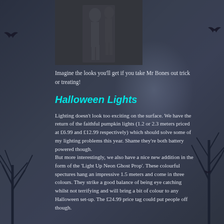[Figure (photo): A skeleton or skeletal figure costume photo, partially visible at the top of the page, dark toned image]
Imagine the looks you'll get if you take Mr Bones out trick or treating!
Halloween Lights
Lighting doesn't look too exciting on the surface. We have the return of the faithful pumpkin lights (1.2 or 2.3 meters priced at £6.99 and £12.99 respectively) which should solve some of my lighting problems this year. Shame they're both battery powered though.
But more interestingly, we also have a nice new addition in the form of the 'Light Up Neon Ghost Prop'. These colourful spectures hang an impressive 1.5 meters and come in three colours. They strike a good balance of being eye catching whilst not terrifying and will bring a bit of colour to any Halloween set-up. The £24.99 price tag could put people off though.